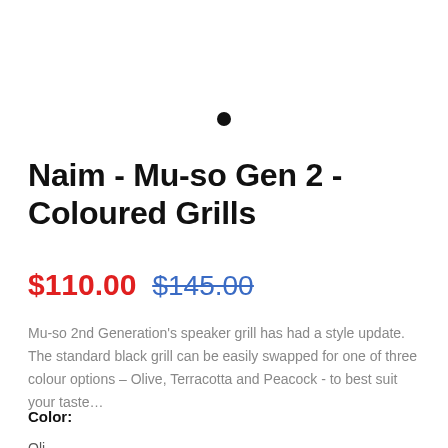[Figure (other): Small filled black circle dot, navigation indicator]
Naim - Mu-so Gen 2 - Coloured Grills
$110.00  $145.00
Mu-so 2nd Generation’s speaker grill has had a style update. The standard black grill can be easily swapped for one of three colour options – Olive, Terracotta and Peacock - to best suit your taste…
Color:
Oli...